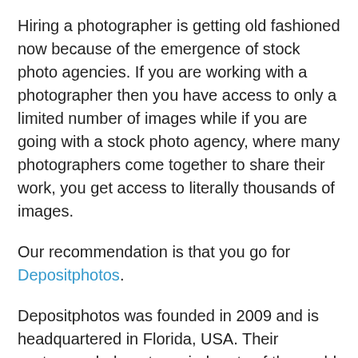Hiring a photographer is getting old fashioned now because of the emergence of stock photo agencies. If you are working with a photographer then you have access to only a limited number of images while if you are going with a stock photo agency, where many photographers come together to share their work, you get access to literally thousands of images.
Our recommendation is that you go for Depositphotos.
Depositphotos was founded in 2009 and is headquartered in Florida, USA. Their customers belong to varied parts of the world spreading to 192 countries. Depositphotos provides support in 14 different languages and allows people to buy and sell stock photos, vector images and videos.